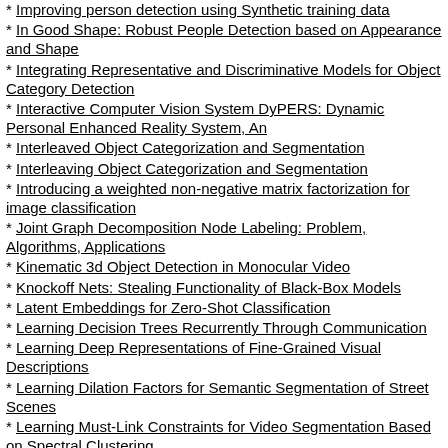Improving person detection using Synthetic training data
In Good Shape: Robust People Detection based on Appearance and Shape
Integrating Representative and Discriminative Models for Object Category Detection
Interactive Computer Vision System DyPERS: Dynamic Personal Enhanced Reality System, An
Interleaved Object Categorization and Segmentation
Interleaving Object Categorization and Segmentation
Introducing a weighted non-negative matrix factorization for image classification
Joint Graph Decomposition Node Labeling: Problem, Algorithms, Applications
Kinematic 3d Object Detection in Monocular Video
Knockoff Nets: Stealing Functionality of Black-Box Models
Latent Embeddings for Zero-Shot Classification
Learning Decision Trees Recurrently Through Communication
Learning Deep Representations of Fine-Grained Visual Descriptions
Learning Dilation Factors for Semantic Segmentation of Street Scenes
Learning Must-Link Constraints for Video Segmentation Based on Spectral Clustering
Learning Non-maximum Suppression
Learning people detection models from few training